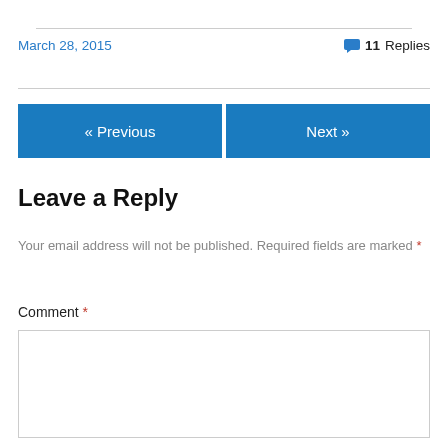March 28, 2015
💬 11 Replies
« Previous
Next »
Leave a Reply
Your email address will not be published. Required fields are marked *
Comment *